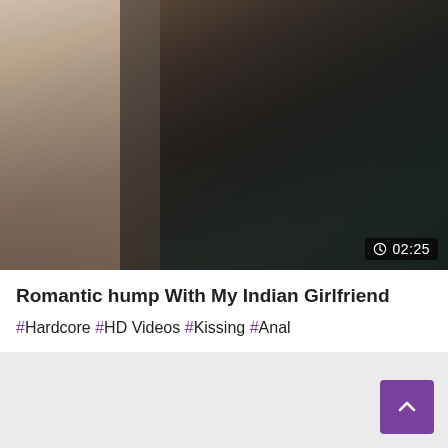[Figure (photo): Video thumbnail showing two people in close proximity on a floral patterned surface, dark tones]
Romantic hump With My Indian Girlfriend
#Hardcore #HD Videos #Kissing #Anal